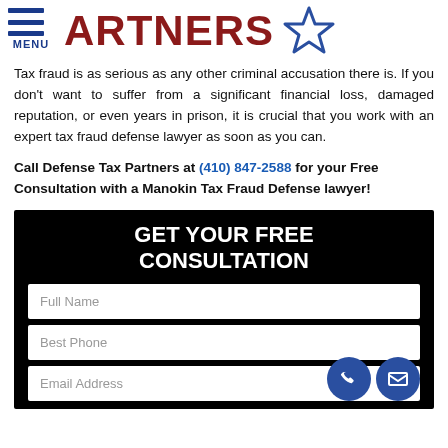PARTNERS (logo with star and hamburger menu)
Tax fraud is as serious as any other criminal accusation there is. If you don't want to suffer from a significant financial loss, damaged reputation, or even years in prison, it is crucial that you work with an expert tax fraud defense lawyer as soon as you can.
Call Defense Tax Partners at (410) 847-2588 for your Free Consultation with a Manokin Tax Fraud Defense lawyer!
[Figure (other): Black contact form section with title GET YOUR FREE CONSULTATION, and input fields for Full Name, Best Phone, Email Address, plus phone and email icon buttons.]